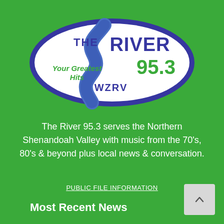[Figure (logo): The River 95.3 WZRV radio station logo — an oval shape with a blue border on a white background. Text reads 'THE RIVER 95.3' in blue and 'Your Greatest Hits' and 'WZRV' in green, with a blue river/water graphic flowing through the oval.]
The River 95.3 serves the Northern Shenandoah Valley with music from the 70's, 80's & beyond plus local news & conversation.
PUBLIC FILE INFORMATION
Most Recent News